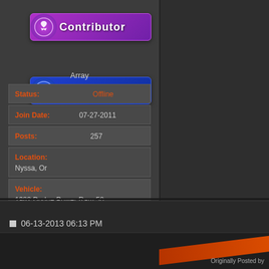[Figure (illustration): Contributor badge - purple rounded rectangle with ribbon icon and text 'Contributor']
[Figure (illustration): Donator badge - blue rounded rectangle with dollar-sign icon and text 'Donator']
Array
| Status: | Offline |
| Join Date: | 07-27-2011 |
| Posts: | 257 |
| Location: | Nyssa, Or |
| Vehicle: | 1982 Dodge Power Ram 50 |
| Engine: | G54B |
06-13-2013 06:13 PM
Originally Posted by